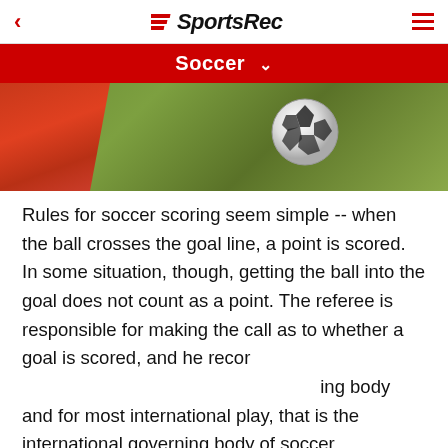SportsRec
Soccer
[Figure (photo): Soccer ball in motion over a grass field, with red fabric visible on the left side]
Rules for soccer scoring seem simple -- when the ball crosses the goal line, a point is scored. In some situation, though, getting the ball into the goal does not count as a point. The referee is responsible for making the call as to whether a goal is scored, and he records it accordingly. Rules are determined by the organizing body and for most international play, that is the international governing body of soccer.
[Figure (screenshot): Advertisement for Tally: Fast credit card payoff app with Download Now button]